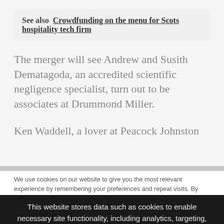See also  Crowdfunding on the menu for Scots hospitality tech firm
The merger will see Andrew and Susith Dematagoda, an accredited scientific negligence specialist, turn out to be associates at Drummond Miller.
Ken Waddell, a lover at Peacock Johnston
We use cookies on our website to give you the most relevant experience by remembering your preferences and repeat visits. By clicking "Accept All", you consent to the use of ALL the cookies. Cookie Settings
This website stores data such as cookies to enable necessary site functionality, including analytics, targeting, and personalization. By remaining on this website you indicate your consent Cookie Policy ✕